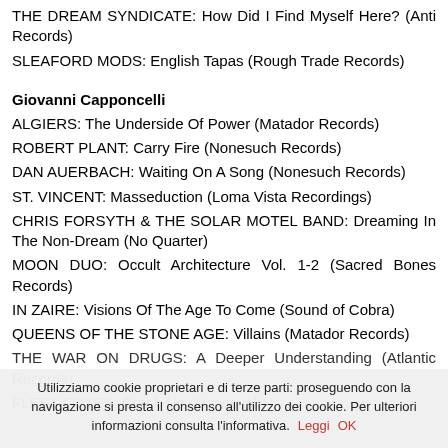THE DREAM SYNDICATE: How Did I Find Myself Here? (Anti Records)
SLEAFORD MODS: English Tapas (Rough Trade Records)
Giovanni Capponcelli
ALGIERS: The Underside Of Power (Matador Records)
ROBERT PLANT: Carry Fire (Nonesuch Records)
DAN AUERBACH: Waiting On A Song (Nonesuch Records)
ST. VINCENT: Masseduction (Loma Vista Recordings)
CHRIS FORSYTH & THE SOLAR MOTEL BAND: Dreaming In The Non-Dream (No Quarter)
MOON DUO: Occult Architecture Vol. 1-2 (Sacred Bones Records)
IN ZAIRE: Visions Of The Age To Come (Sound of Cobra)
QUEENS OF THE STONE AGE: Villains (Matador Records)
THE WAR ON DRUGS: A Deeper Understanding (Atlantic Records)
FLEET FOXES: Crack-Up (Nonesuch)
Utilizziamo cookie proprietari e di terze parti: proseguendo con la navigazione si presta il consenso all'utilizzo dei cookie. Per ulteriori informazioni consulta l'informativa.